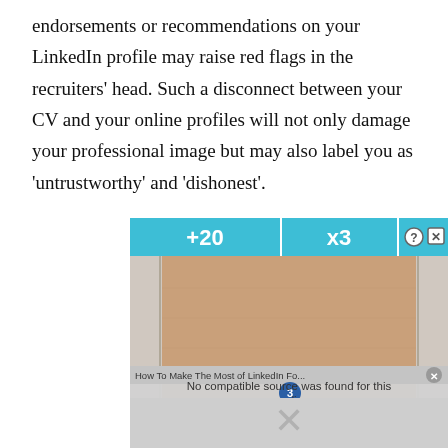endorsements or recommendations on your LinkedIn profile may raise red flags in the recruiters' head. Such a disconnect between your CV and your online profiles will not only damage your professional image but may also label you as 'untrustworthy' and 'dishonest'.
[Figure (screenshot): Screenshot of a mobile game showing a bowling lane with +20 and x3 score indicators at the top, and a video ad overlay reading 'How To Make The Most of LinkedIn Fo...' with 'No compatible source was found for this media.' message and 'Hold and Move' text with teal figures.]